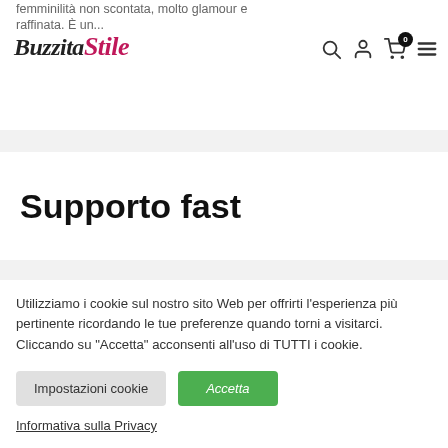femminilità non scontata, molto glamour e raffinata. È un...
[Figure (logo): Buzzita Stile logo with italic serif text, 'Stile' in red/crimson cursive]
Supporto fast
Utilizziamo i cookie sul nostro sito Web per offrirti l'esperienza più pertinente ricordando le tue preferenze quando torni a visitarci. Cliccando su "Accetta" acconsenti all'uso di TUTTI i cookie.
Impostazioni cookie
Accetta
Informativa sulla Privacy